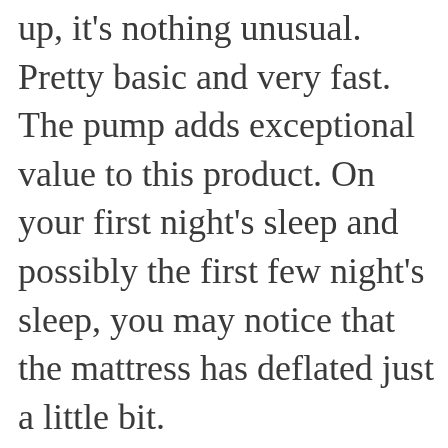up, it's nothing unusual. Pretty basic and very fast. The pump adds exceptional value to this product. On your first night's sleep and possibly the first few night's sleep, you may notice that the mattress has deflated just a little bit.